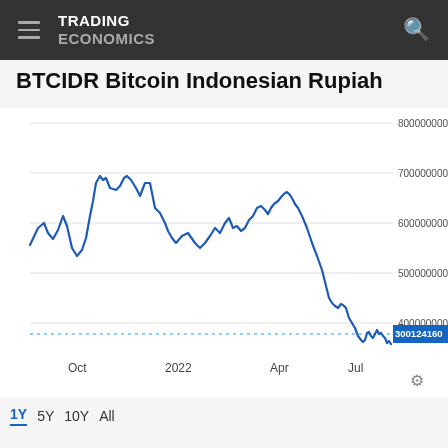TRADING ECONOMICS
BTCIDR Bitcoin Indonesian Rupiah
[Figure (continuous-plot): Line chart showing BTCIDR Bitcoin Indonesian Rupiah price from around September 2021 to July 2022. The price peaked near 800000000 in late 2021, then trended downward through 2022, with a notable drop to around 300124160 by July 2022. The current value label shows 300124160 highlighted in blue on the right y-axis.]
1Y  5Y  10Y  All